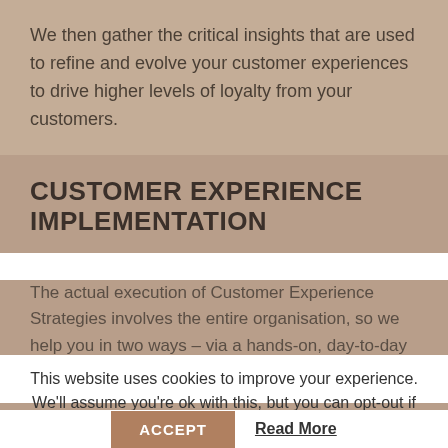We then gather the critical insights that are used to refine and evolve your customer experiences to drive higher levels of loyalty from your customers.
CUSTOMER EXPERIENCE IMPLEMENTATION
The actual execution of Customer Experience Strategies involves the entire organisation, so we help you in two ways – via a hands-on, day-to-day implementation, or as a Strategic Experience Lead.
This website uses cookies to improve your experience. We'll assume you're ok with this, but you can opt-out if you wish.